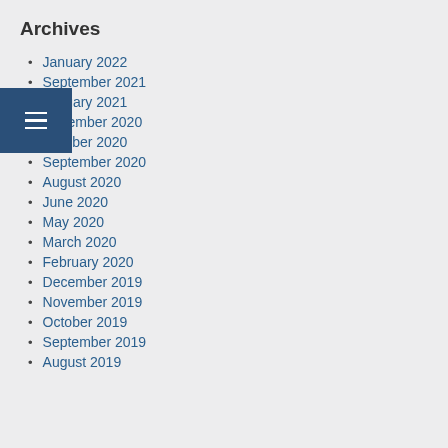Archives
January 2022
September 2021
January 2021
December 2020
October 2020
September 2020
August 2020
June 2020
May 2020
March 2020
February 2020
December 2019
November 2019
October 2019
September 2019
August 2019